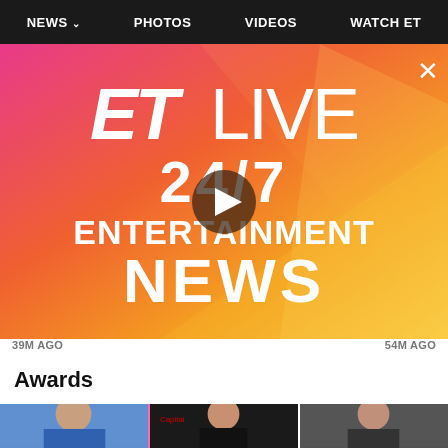NEWS  PHOTOS  VIDEOS  WATCH ET
[Figure (screenshot): ET Live 24/7 Entertainment News video overlay with gradient background (pink to orange/yellow), play button in center, X close button top right]
39M AGO
54M AGO
Awards
[Figure (photo): Three side-by-side photos of people at what appears to be an awards event]